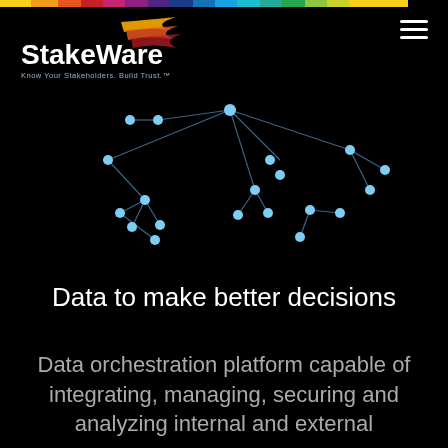[Figure (logo): StakeWare logo with tagline 'Know Your Stakeholders. Build Trust.' in white text with orange/yellow speed-streak graphic]
[Figure (network-graph): Network graph of connected blue dots on black background showing stakeholder relationships]
Data to make better decisions
Data orchestration platform capable of integrating, managing, securing and analyzing internal and external